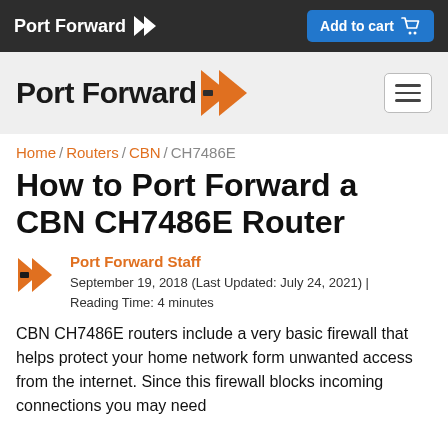Port Forward | Add to cart
[Figure (logo): Port Forward logo with orange chevron arrows in navigation bar]
Home / Routers / CBN / CH7486E
How to Port Forward a CBN CH7486E Router
Port Forward Staff
September 19, 2018 (Last Updated: July 24, 2021) | Reading Time: 4 minutes
CBN CH7486E routers include a very basic firewall that helps protect your home network form unwanted access from the internet. Since this firewall blocks incoming connections you may need